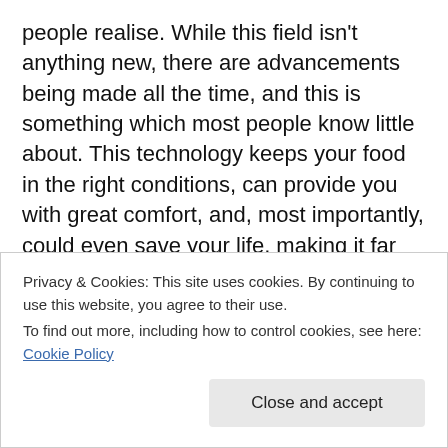people realise. While this field isn't anything new, there are advancements being made all the time, and this is something which most people know little about. This technology keeps your food in the right conditions, can provide you with great comfort, and, most importantly, could even save your life, making it far more crucial than you might think. Of course, though, the best tools aren't used in homes, and you have to look further if you want to learn more about this field. Hospitals and food places are a great place to start, though you could also think about the devices you use each day...
Privacy & Cookies: This site uses cookies. By continuing to use this website, you agree to their use. To find out more, including how to control cookies, see here: Cookie Policy
Close and accept